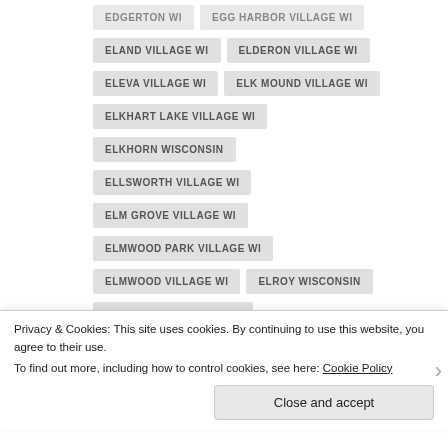EDGERTON WI
EGG HARBOR VILLAGE WI
ELAND VILLAGE WI
ELDERON VILLAGE WI
ELEVA VILLAGE WI
ELK MOUND VILLAGE WI
ELKHART LAKE VILLAGE WI
ELKHORN WISCONSIN
ELLSWORTH VILLAGE WI
ELM GROVE VILLAGE WI
ELMWOOD PARK VILLAGE WI
ELMWOOD VILLAGE WI
ELROY WISCONSIN
EMBARRASS VILLAGE WI
ENDEAVOR VILLAGE WI
EPHRAIM VILLAGE WI
Privacy & Cookies: This site uses cookies. By continuing to use this website, you agree to their use. To find out more, including how to control cookies, see here: Cookie Policy
Close and accept